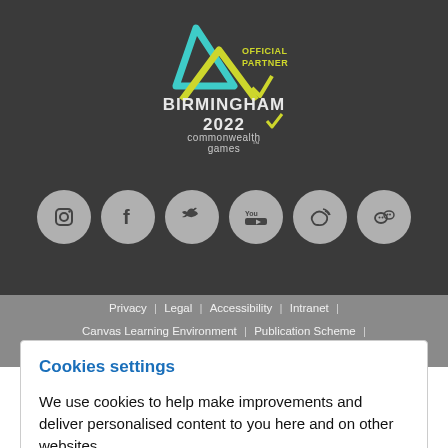[Figure (logo): Birmingham 2022 Commonwealth Games Official Partner logo — triangle/arrow shapes in teal and yellow-green, with text OFFICIAL PARTNER above BIRMINGHAM 2022 commonwealth games]
[Figure (infographic): Row of 6 social media icon circles (grey): Instagram, Facebook, Twitter, YouTube, Weibo, WeChat]
Privacy | Legal | Accessibility | Intranet |
Canvas Learning Environment | Publication Scheme |
Information for Applicants | Freedom of information |
Cookies settings
We use cookies to help make improvements and deliver personalised content to you here and on other websites.